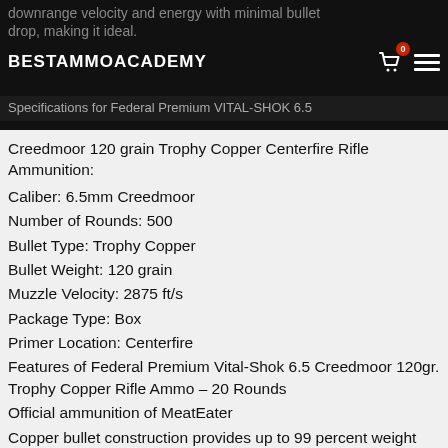downrange velocity and energy with minimal bullet drop, making it ideal. BESTAMMOACADEMY. Specifications for Federal Premium VITAL-SHOK 6.5
Specifications for Federal Premium VITAL-SHOK 6.5 Creedmoor 120 grain Trophy Copper Centerfire Rifle Ammunition:
Caliber: 6.5mm Creedmoor
Number of Rounds: 500
Bullet Type: Trophy Copper
Bullet Weight: 120 grain
Muzzle Velocity: 2875 ft/s
Package Type: Box
Primer Location: Centerfire
Features of Federal Premium Vital-Shok 6.5 Creedmoor 120gr. Trophy Copper Rifle Ammo – 20 Rounds
Official ammunition of MeatEater
Copper bullet construction provides up to 99 percent weight retention for the deepest